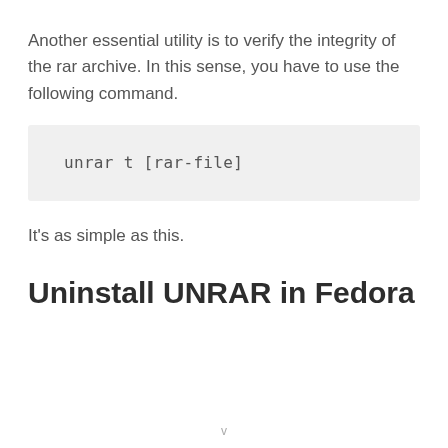Another essential utility is to verify the integrity of the rar archive. In this sense, you have to use the following command.
unrar t [rar-file]
It's as simple as this.
Uninstall UNRAR in Fedora